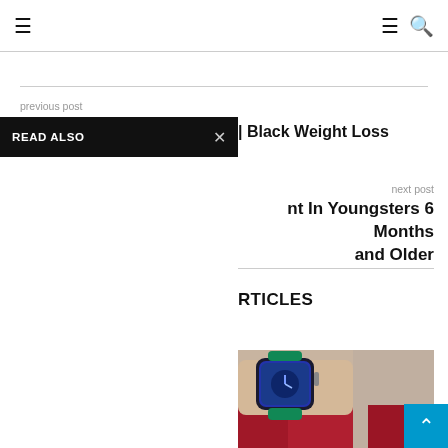≡  ≡ 🔍
previous post
READ ALSO
| Black Weight Loss
next post
nt In Youngsters 6 Months and Older
RTICLES
[Figure (photo): Person wearing a smartwatch with a teal/green band on their wrist, wearing a red shirt]